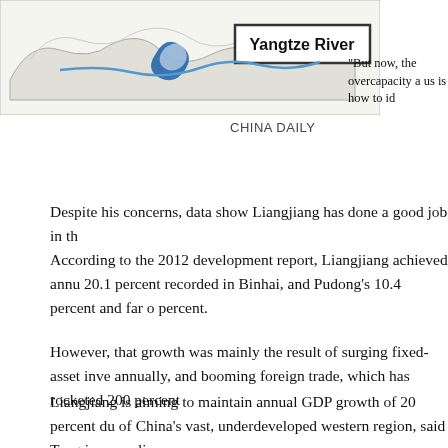[Figure (map): Map showing the Yangtze River region with a labeled box 'Yangtze River' and stylized map outline with blue logo/symbol]
CHINA DAILY
"But now, the overcapacity a us is how to id
Despite his concerns, data show Liangjiang has done a good job in th
According to the 2012 development report, Liangjiang achieved annu 20.1 percent recorded in Binhai, and Pudong's 10.4 percent and far o percent.
However, that growth was mainly the result of surging fixed-asset inve annually, and booming foreign trade, which has rocketed 200 percent
Liangjiang is aiming to maintain annual GDP growth of 20 percent du of China's vast, underdeveloped western region, said Tang in an earli
"The first three years have been easy and smooth because we receiv government, but now we must shift from developing the fundamentals
Tang expressed concern that the goal will be hard to achieve if growth experiences of the eastern areas. "Now everybody else is already in p gain a foothold in the market, no matter how much we invest," he sai
To find a niche market, Liangjiang must have high-tech products. Tan